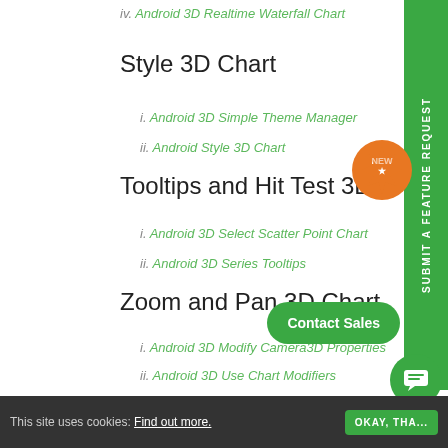iv. Android 3D Realtime Waterfall Chart
Style 3D Chart
i. Android 3D Simple Theme Manager
ii. Android Style 3D Chart
Tooltips and Hit Test 3D Charts
i. Android 3D Select Scatter Point Chart
ii. Android 3D Series Tooltips
Zoom and Pan 3D Chart
i. Android 3D Modify Camera3D Properties
ii. Android 3D Use Chart Modifiers
Featured Apps
Medical Charts
This site uses cookies: Find out more.